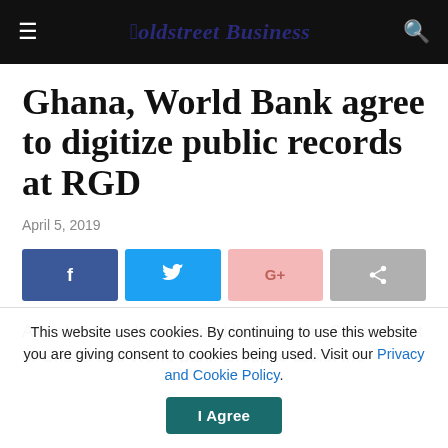Goldstreet Business
Ghana, World Bank agree to digitize public records at RGD
April 5, 2019
[Figure (other): Social share buttons: Facebook, Twitter, Google+, Share]
A contract has been signed between the Government of Ghana and World Bank Group to assist the
This website uses cookies. By continuing to use this website you are giving consent to cookies being used. Visit our Privacy and Cookie Policy.